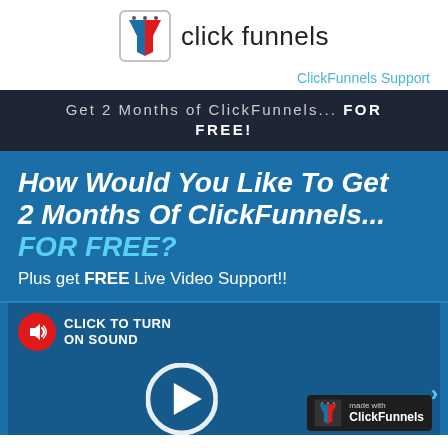[Figure (logo): ClickFunnels logo: funnel icon in a box followed by 'click funnels' text]
ClickFunnels Support
Get 2 Months of ClickFunnels... FOR FREE!
How Would You Like To Get 2 Months Of ClickFunnels... FOR FREE?
Plus get FREE Live Video Support!!
[Figure (screenshot): Video player area with a red sound icon circle, 'CLICK TO TURN ON SOUND' text, a white play button circle, a ClickFunnels 'made with' badge, and a blue arrow on the right.]